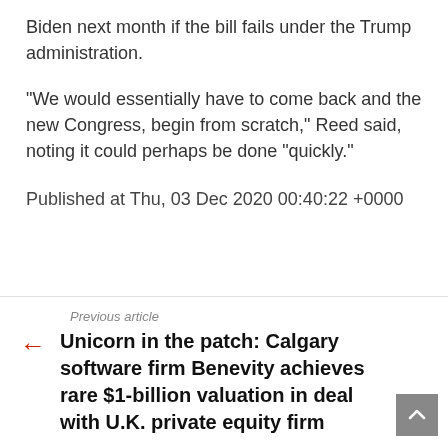Biden next month if the bill fails under the Trump administration.
“We would essentially have to come back and the new Congress, begin from scratch,” Reed said, noting it could perhaps be done “quickly.”
Published at Thu, 03 Dec 2020 00:40:22 +0000
Previous article
Unicorn in the patch: Calgary software firm Benevity achieves rare $1-billion valuation in deal with U.K. private equity firm